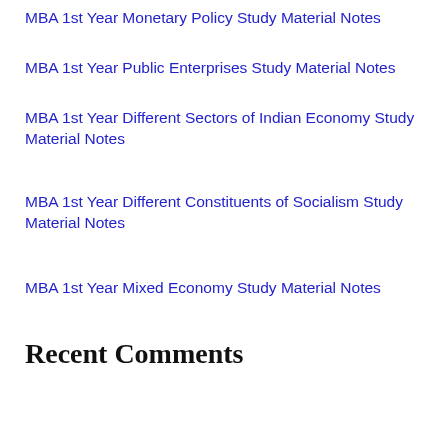MBA 1st Year Monetary Policy Study Material Notes
MBA 1st Year Public Enterprises Study Material Notes
MBA 1st Year Different Sectors of Indian Economy Study Material Notes
MBA 1st Year Different Constituents of Socialism Study Material Notes
MBA 1st Year Mixed Economy Study Material Notes
Recent Comments